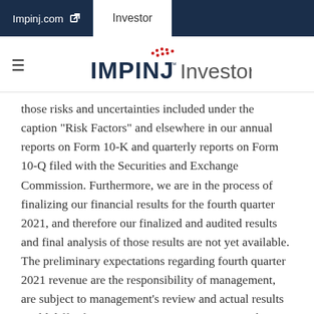Impinj.com  Investor
IMPINJ™ Investors
those risks and uncertainties included under the caption "Risk Factors" and elsewhere in our annual reports on Form 10-K and quarterly reports on Form 10-Q filed with the Securities and Exchange Commission. Furthermore, we are in the process of finalizing our financial results for the fourth quarter 2021, and therefore our finalized and audited results and final analysis of those results are not yet available. The preliminary expectations regarding fourth quarter 2021 revenue are the responsibility of management, are subject to management's review and actual results could differ from management's expectations. The actual results are also subject to audit by our independent registered